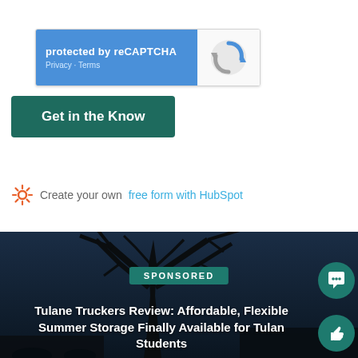[Figure (screenshot): reCAPTCHA widget showing 'protected by reCAPTCHA' with Privacy and Terms links on blue background, and reCAPTCHA logo on grey background]
Get in the Know
Create your own free form with HubSpot
[Figure (photo): Dark nighttime photo of large tree silhouette against deep blue sky with SPONSORED badge and article title overlay]
Tulane Truckers Review: Affordable, Flexible Summer Storage Finally Available for Tulane Students